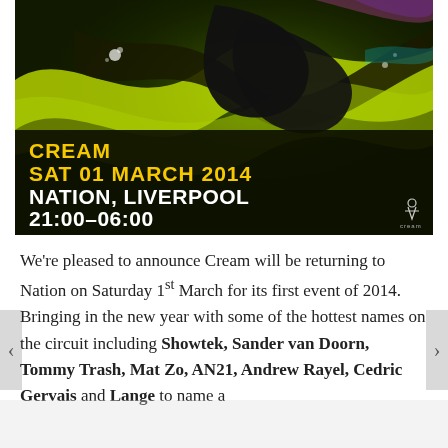[Figure (illustration): Event promotional poster for Cream nightclub event. Dark background with abstract glossy yellow-green and black ribbon/wave shapes and colourful light effects. Text overlay reads: CREAM / SAT 01 MARCH 2014 / NATION, LIVERPOOL / 21:00–06:00. Cream logo bottom right.]
We're pleased to announce Cream will be returning to Nation on Saturday 1st March for its first event of 2014. Bringing in the new year with some of the hottest names on the circuit including Showtek, Sander van Doorn, Tommy Trash, Mat Zo, AN21, Andrew Rayel, Cedric Gervais and Lange to name a